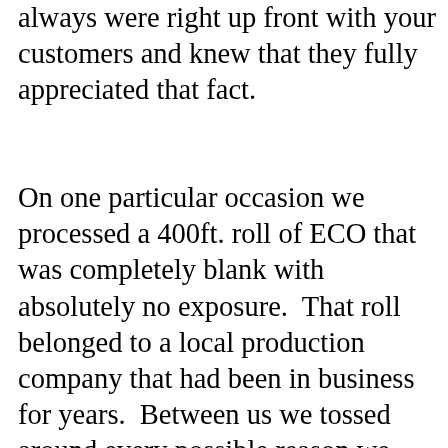always were right up front with your customers and knew that they fully appreciated that fact.
On one particular occasion we processed a 400ft. roll of ECO that was completely blank with absolutely no exposure. That roll belonged to a local production company that had been in business for years. Between us we tossed around every possible reason we could conceive with no concrete answer. The next day, I received a phone call from the cameraman. He said “We know what happened, our assistant cameraman loaded the 400ft. roll which was a core wind in the film magazine in the dark room, then placed